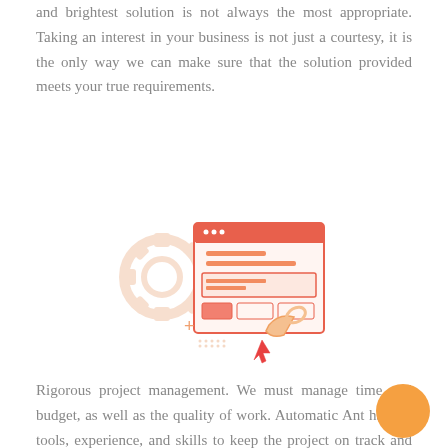and brightest solution is not always the most appropriate. Taking an interest in your business is not just a courtesy, it is the only way we can make sure that the solution provided meets your true requirements.
[Figure (illustration): Illustration of a browser/web settings window with a gear icon on the left, an orange wrench on the bottom right, a pink cursor arrow, and a plus sign, representing project management tools.]
Rigorous project management. We must manage time and budget, as well as the quality of work. Automatic Ant has the tools, experience, and skills to keep the project on track and push the limits of the possibilities.
[Figure (illustration): Illustration of a browser window with a globe/world icon inside, partially visible at the bottom of the page.]